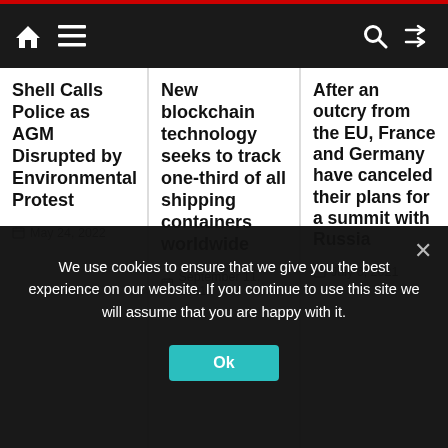Navigation bar with home, menu, search, and shuffle icons
Shell Calls Police as AGM Disrupted by Environmental Protest
May 24, 2022
New blockchain technology seeks to track one-third of all shipping containers worldwide
September 11, 2021
After an outcry from the EU, France and Germany have canceled their plans for a summit with Russia
July 6, 2021
We use cookies to ensure that we give you the best experience on our website. If you continue to use this site we will assume that you are happy with it.